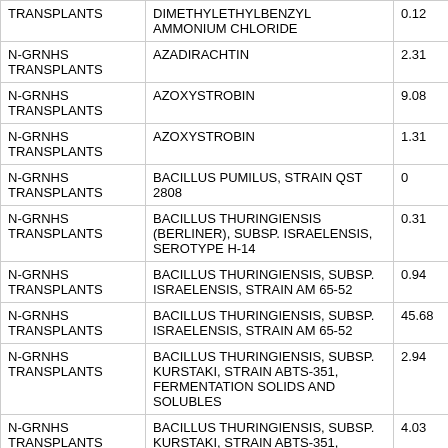|  |  |  |
| --- | --- | --- |
| TRANSPLANTS | DIMETHYLETHYLBENZYL AMMONIUM CHLORIDE | 0.12 |
| N-GRNHS TRANSPLANTS | AZADIRACHTIN | 2.31 |
| N-GRNHS TRANSPLANTS | AZOXYSTROBIN | 9.08 |
| N-GRNHS TRANSPLANTS | AZOXYSTROBIN | 1.31 |
| N-GRNHS TRANSPLANTS | BACILLUS PUMILUS, STRAIN QST 2808 | 0 |
| N-GRNHS TRANSPLANTS | BACILLUS THURINGIENSIS (BERLINER), SUBSP. ISRAELENSIS, SEROTYPE H-14 | 0.31 |
| N-GRNHS TRANSPLANTS | BACILLUS THURINGIENSIS, SUBSP. ISRAELENSIS, STRAIN AM 65-52 | 0.94 |
| N-GRNHS TRANSPLANTS | BACILLUS THURINGIENSIS, SUBSP. ISRAELENSIS, STRAIN AM 65-52 | 45.68 |
| N-GRNHS TRANSPLANTS | BACILLUS THURINGIENSIS, SUBSP. KURSTAKI, STRAIN ABTS-351, FERMENTATION SOLIDS AND SOLUBLES | 2.94 |
| N-GRNHS TRANSPLANTS | BACILLUS THURINGIENSIS, SUBSP. KURSTAKI, STRAIN ABTS-351, | 4.03 |